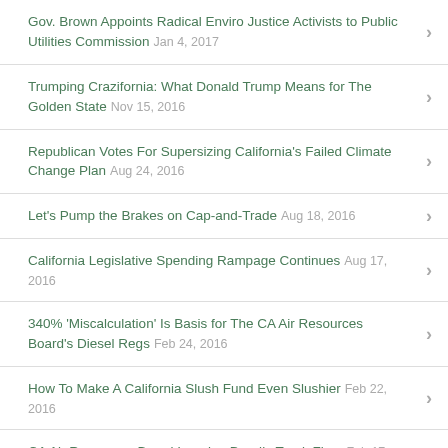Gov. Brown Appoints Radical Enviro Justice Activists to Public Utilities Commission Jan 4, 2017
Trumping Crazifornia: What Donald Trump Means for The Golden State Nov 15, 2016
Republican Votes For Supersizing California's Failed Climate Change Plan Aug 24, 2016
Let's Pump the Brakes on Cap-and-Trade Aug 18, 2016
California Legislative Spending Rampage Continues Aug 17, 2016
340% 'Miscalculation' Is Basis for The CA Air Resources Board's Diesel Regs Feb 24, 2016
How To Make A California Slush Fund Even Slushier Feb 22, 2016
CA Air Resources Board Ignoring Deadly Truck Fires Feb 17, 2016